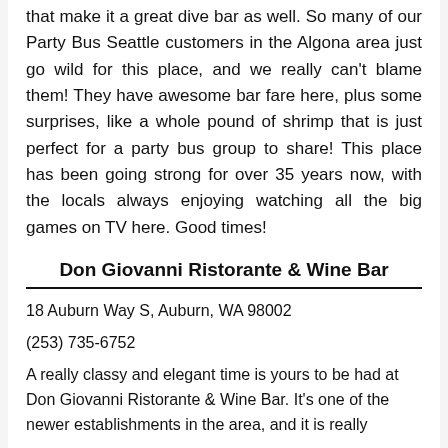that make it a great dive bar as well. So many of our Party Bus Seattle customers in the Algona area just go wild for this place, and we really can't blame them! They have awesome bar fare here, plus some surprises, like a whole pound of shrimp that is just perfect for a party bus group to share! This place has been going strong for over 35 years now, with the locals always enjoying watching all the big games on TV here. Good times!
Don Giovanni Ristorante & Wine Bar
18 Auburn Way S, Auburn, WA 98002
(253) 735-6752
A really classy and elegant time is yours to be had at Don Giovanni Ristorante & Wine Bar. It's one of the newer establishments in the area, and it is really